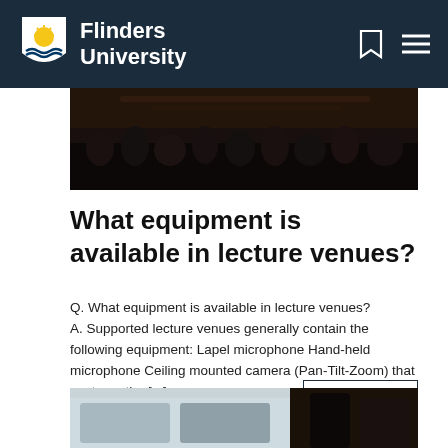Flinders University
[Figure (photo): Dark photograph of a lecture hall audience from behind, showing rows of seated students in a dim auditorium setting.]
What equipment is available in lecture venues?
Q. What equipment is available in lecture venues? A. Supported lecture venues generally contain the following equipment: Lapel microphone Hand-held microphone Ceiling mounted camera (Pan-Tilt-Zoom) that captures the [...]
JUNE 12, 2018
[Figure (photo): Partial photo at bottom of page showing technology equipment, possibly tablets or monitors with dark background objects.]